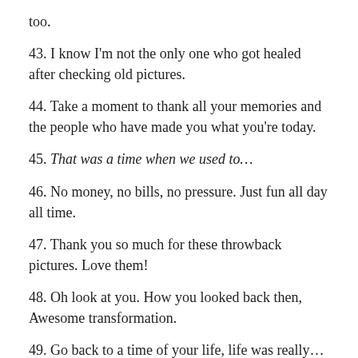too.
43. I know I'm not the only one who got healed after checking old pictures.
44. Take a moment to thank all your memories and the people who have made you what you're today.
45. That was a time when we used to…
46. No money, no bills, no pressure. Just fun all day all time.
47. Thank you so much for these throwback pictures. Love them!
48. Oh look at you. How you looked back then, Awesome transformation.
49. Go back to a time of your life, life was really…